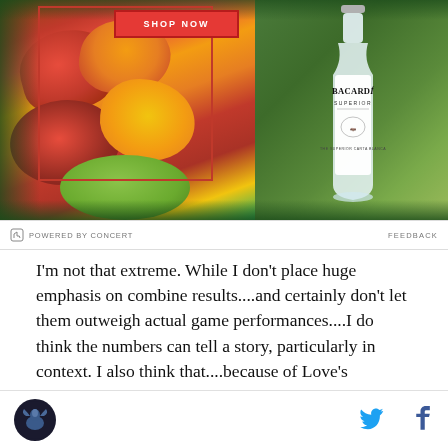[Figure (photo): Bacardi Superior rum advertisement banner showing tropical fruits (mangoes) on left side with a Bacardi bottle on the right against a green tropical leaf background. A red 'SHOP NOW' button is visible at the top.]
POWERED BY CONCERT    FEEDBACK
I'm not that extreme. While I don't place huge emphasis on combine results....and certainly don't let them outweigh actual game performances....I do think the numbers can tell a story, particularly in context. I also think that....because of Love's underdog workman status (which is really overblown btw. He tested out perfectly fine at his combine) the whole debate about Love versus Gladiator Griffin, and the spectacular failures of guys like Flynn and Wes Johnson, we